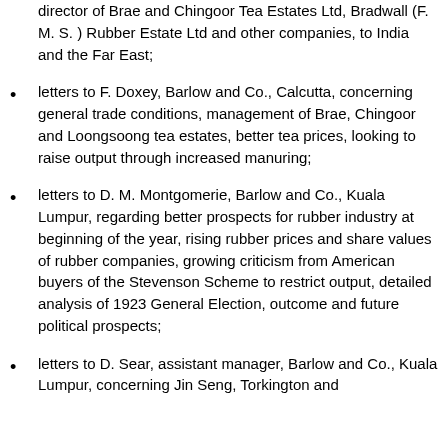director of Brae and Chingoor Tea Estates Ltd, Bradwall (F. M. S. ) Rubber Estate Ltd and other companies, to India and the Far East;
letters to F. Doxey, Barlow and Co., Calcutta, concerning general trade conditions, management of Brae, Chingoor and Loongsoong tea estates, better tea prices, looking to raise output through increased manuring;
letters to D. M. Montgomerie, Barlow and Co., Kuala Lumpur, regarding better prospects for rubber industry at beginning of the year, rising rubber prices and share values of rubber companies, growing criticism from American buyers of the Stevenson Scheme to restrict output, detailed analysis of 1923 General Election, outcome and future political prospects;
letters to D. Sear, assistant manager, Barlow and Co., Kuala Lumpur, concerning Jin Seng, Torkington and